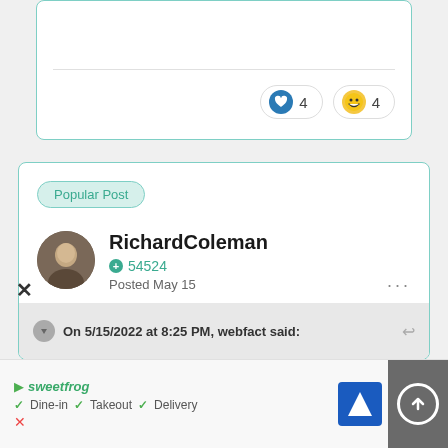[Figure (screenshot): Top of a forum post card showing reaction buttons with heart (4) and laughing emoji (4)]
Popular Post
RichardColeman
54524
Posted May 15
On 5/15/2022 at 8:25 PM, webfact said:
✓ Dine-in ✓ Takeout ✓ Delivery